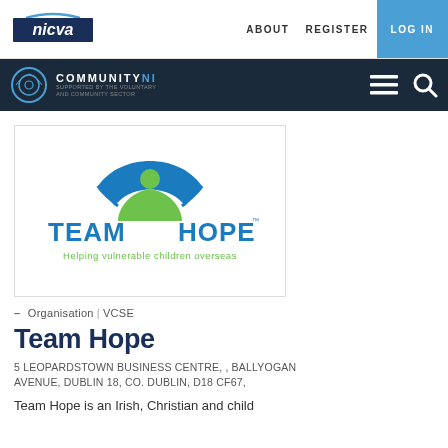nicva  ABOUT  REGISTER  LOG IN
COMMUNITYNI – Organisation | VCSE
[Figure (logo): Team Hope logo — blue and green swoosh icon with blue text TEAM HOPE and green tagline Helping vulnerable children overseas]
– Organisation | VCSE
Team Hope
5 LEOPARDSTOWN BUSINESS CENTRE, , BALLYOGAN AVENUE, DUBLIN 18, CO. DUBLIN, D18 CF67,
Team Hope is an Irish, Christian and child